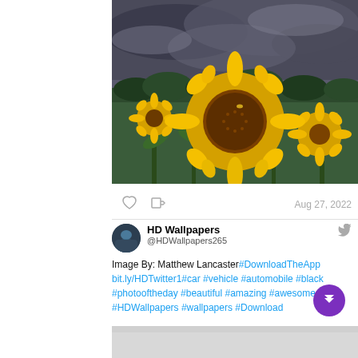[Figure (photo): A field of sunflowers with a large sunflower in the foreground, set against a dramatic cloudy sky. Photo by Matthew Lancaster.]
Aug 27, 2022
HD Wallpapers @HDWallpapers265 Image By: Matthew Lancaster#DownloadTheApp bit.ly/HDTwitter1#car #vehicle #automobile #black #photooftheday #beautiful #amazing #awesome #HDWallpapers #wallpapers #Download